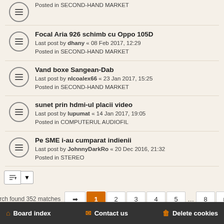Posted in SECOND-HAND MARKET
Focal Aria 926 schimb cu Oppo 105D
Last post by dhany « 08 Feb 2017, 12:29
Posted in SECOND-HAND MARKET
Vand boxe Sangean-Dab
Last post by nlcoalex66 « 23 Jan 2017, 15:25
Posted in SECOND-HAND MARKET
sunet prin hdmi-ul placii video
Last post by lupumat « 14 Jan 2017, 19:05
Posted in COMPUTERUL AUDIOFIL
Pe SME i-au cumparat indienii
Last post by JohnnyDarkRo « 20 Dec 2016, 21:32
Posted in STEREO
Search found 352 matches
Board index   Contact us   Delete cookies